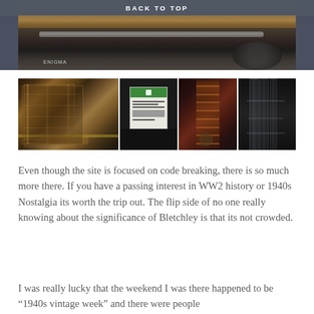BACK TO TOP
[Figure (photo): Close-up photo of an Enigma machine or similar WWII cryptographic equipment, showing mechanical parts and a wooden surface, with 'ENIGMA' label visible at the bottom left]
[Figure (photo): Row of four museum photos: (1) large room with equipment racks/shelving units, (2) a green and white informational sign on a dark background, (3) a tall tower of cylindrical components, (4) transparent tubes or cables in a dark setting]
Even though the site is focused on code breaking, there is so much more there. If you have a passing interest in WW2 history or 1940s Nostalgia its worth the trip out. The flip side of no one really knowing about the significance of Bletchley is that its not crowded.
I was really lucky that the weekend I was there happened to be "1940s vintage week" and there were people